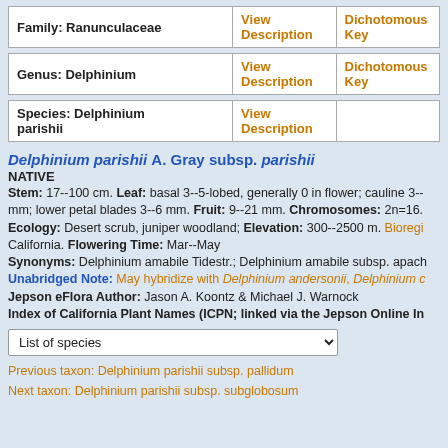| Family: Ranunculaceae | View Description | Dichotomous Key |
| --- | --- | --- |
| Genus: Delphinium | View Description | Dichotomous Key |
| --- | --- | --- |
| Species: Delphinium parishii | View Description |  |
| --- | --- | --- |
Delphinium parishii A. Gray subsp. parishii
NATIVE
Stem: 17--100 cm. Leaf: basal 3--5-lobed, generally 0 in flower; cauline 3-- mm; lower petal blades 3--6 mm. Fruit: 9--21 mm. Chromosomes: 2n=16. Ecology: Desert scrub, juniper woodland; Elevation: 300--2500 m. Bioregi California. Flowering Time: Mar--May Synonyms: Delphinium amabile Tidestr.; Delphinium amabile subsp. apach Unabridged Note: May hybridize with Delphinium andersonii, Delphinium c Jepson eFlora Author: Jason A. Koontz & Michael J. Warnock Index of California Plant Names (ICPN; linked via the Jepson Online In
Previous taxon: Delphinium parishii subsp. pallidum
Next taxon: Delphinium parishii subsp. subglobosum